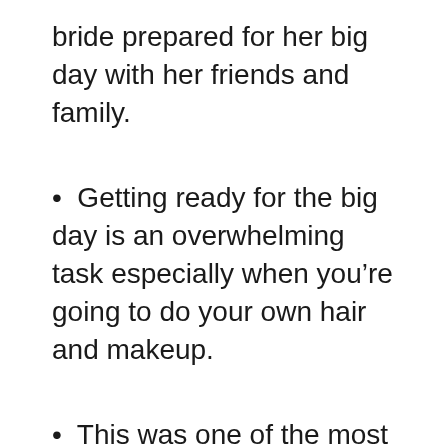bride prepared for her big day with her friends and family.
Getting ready for the big day is an overwhelming task especially when you’re going to do your own hair and makeup.
This was one of the most amazing nights. Cheers to my beautiful sister. I can’t wait to dance at your wedding 💃🍾
My greatest wish for you is to be